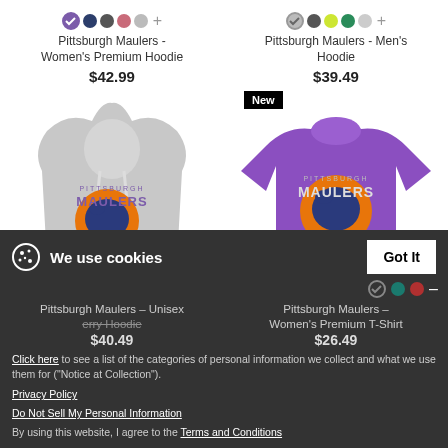[Figure (screenshot): Product listing page for Pittsburgh Maulers merchandise showing two products in a grid: Women's Premium Hoodie at $42.99 and Men's Hoodie at $39.49, with color swatches, product images, and a cookie consent banner at the bottom.]
Pittsburgh Maulers - Women's Premium Hoodie
$42.99
Pittsburgh Maulers - Men's Hoodie
$39.49
We use cookies
Click here to see a list of the categories of personal information we collect and what we use them for ("Notice at Collection").
Privacy Policy
Do Not Sell My Personal Information
By using this website, I agree to the Terms and Conditions
Pittsburgh Maulers – Unisex Terry Hoodie $40.49
Pittsburgh Maulers – Women's Premium T-Shirt $26.49